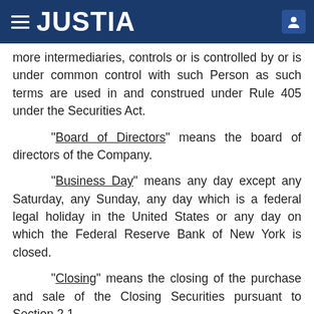JUSTIA
more intermediaries, controls or is controlled by or is under common control with such Person as such terms are used in and construed under Rule 405 under the Securities Act.
“Board of Directors” means the board of directors of the Company.
“Business Day” means any day except any Saturday, any Sunday, any day which is a federal legal holiday in the United States or any day on which the Federal Reserve Bank of New York is closed.
“Closing” means the closing of the purchase and sale of the Closing Securities pursuant to Section 2.1.
“Closing Date” means the hour and the date on